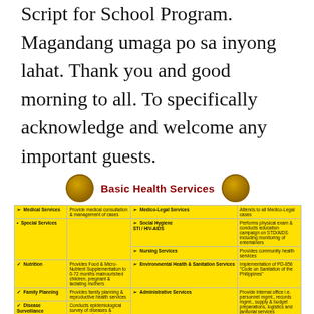Script for School Program. Magandang umaga po sa inyong lahat. Thank you and good morning to all. To specifically acknowledge and welcome any important guests.
[Figure (infographic): Basic Health Services infographic table with two logos/seals and a yellow table listing medical, special, nutrition, family planning, disease surveillance, mental health, dental, laboratory and other health services with descriptions.]